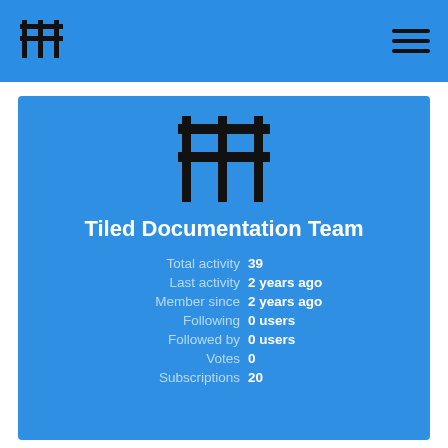[Figure (logo): Tiled app logo — grid/hashtag-like symbol in black on blue header bar]
[Figure (logo): Hamburger menu icon — three horizontal black lines on right side of header]
[Figure (logo): Large Tiled app logo centered in profile card]
Tiled Documentation Team
Total activity  39
Last activity  2 years ago
Member since  2 years ago
Following  0 users
Followed by  0 users
Votes  0
Subscriptions  20